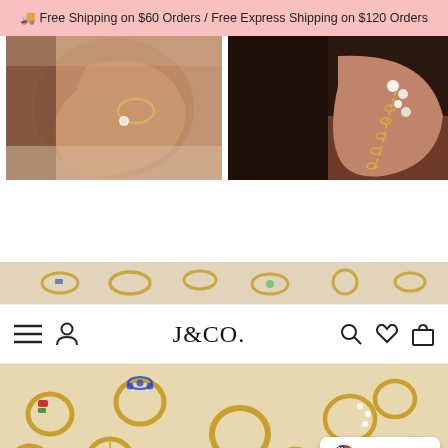🚚 Free Shipping on $60 Orders / Free Express Shipping on $120 Orders
[Figure (photo): Two product photos side by side: left shows a woman's ear with a delicate gold hoop and small crystal stud earring; right shows a woman's ear with pearl and crystal earrings connected by a gold chain.]
[Figure (photo): Top strip showing gold jewelry pieces on a beige background — charm hoops, huggies, and rings.]
[Figure (logo): J&CO. brand logo in serif font centered in the navigation bar.]
[Figure (photo): Lower section showing scattered gold huggie hoop earrings with colorful gemstones (ruby, emerald, sapphire, crystal) on a warm beige background.]
English